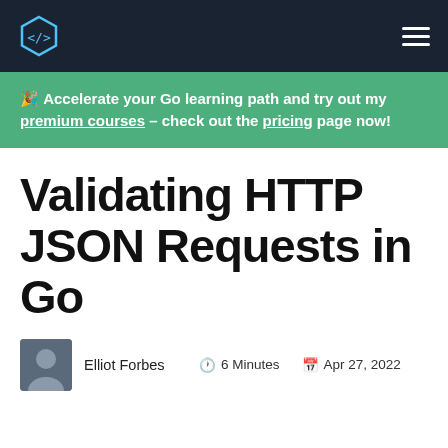TutorialEdge — navigation bar with logo and hamburger menu
🎉 Accelerate your Go learning path and try out my premium courses – check out the pricing page now!
Validating HTTP JSON Requests in Go
Elliot Forbes   🕐 6 Minutes   📅 Apr 27, 2022